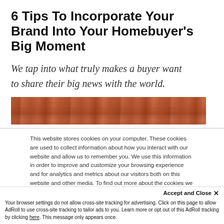6 Tips To Incorporate Your Brand Into Your Homebuyer's Big Moment
We tap into what truly makes a buyer want to share their big news with the world.
[Figure (photo): Horizontal strip photo of brick or stone texture in reddish-brown tones]
This website stores cookies on your computer. These cookies are used to collect information about how you interact with our website and allow us to remember you. We use this information in order to improve and customize your browsing experience and for analytics and metrics about our visitors both on this website and other media. To find out more about the cookies we use, see our Privacy Policy
Accept and Close ✕
Your browser settings do not allow cross-site tracking for advertising. Click on this page to allow AdRoll to use cross-site tracking to tailor ads to you. Learn more or opt out of this AdRoll tracking by clicking here. This message only appears once.